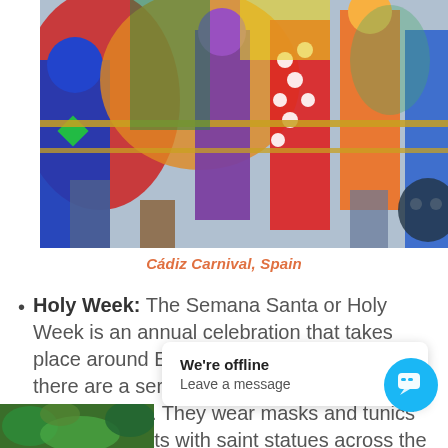[Figure (photo): Colorful carnival performers in costumes including clown outfits, masks, and festive attire at the Cádiz Carnival in Spain.]
Cádiz Carnival, Spain
Holy Week: The Semana Santa or Holy Week is an annual celebration that takes place around Easter. During this holiday there are a series of parades led by the local brotherhoods. They wear masks and tunics and carry floats with saint statues across the city, usually starting at the cathedral.
[Figure (screenshot): Chat widget showing 'We're offline' and 'Leave a message' with a blue chat button.]
[Figure (photo): Partial photo at bottom of page, appears to show green foliage.]